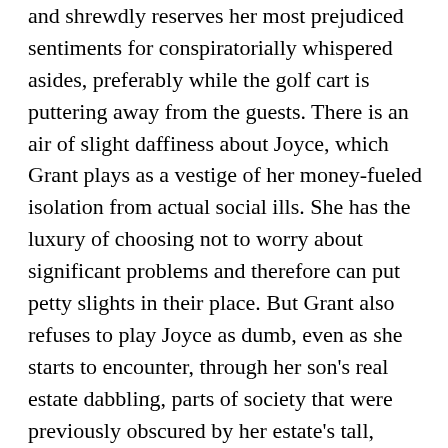and shrewdly reserves her most prejudiced sentiments for conspiratorially whispered asides, preferably while the golf cart is puttering away from the guests. There is an air of slight daffiness about Joyce, which Grant plays as a vestige of her money-fueled isolation from actual social ills. She has the luxury of choosing not to worry about significant problems and therefore can put petty slights in their place. But Grant also refuses to play Joyce as dumb, even as she starts to encounter, through her son's real estate dabbling, parts of society that were previously obscured by her estate's tall, tended hedges. When Joyce's safe boundaries start to fray at the edges, Grant shows her not simply reacting. She works to figure out her situation, her eyes narrowing like a chess master thinking ten moves ahead.
When Joyce ventures out to Elgar's building, her